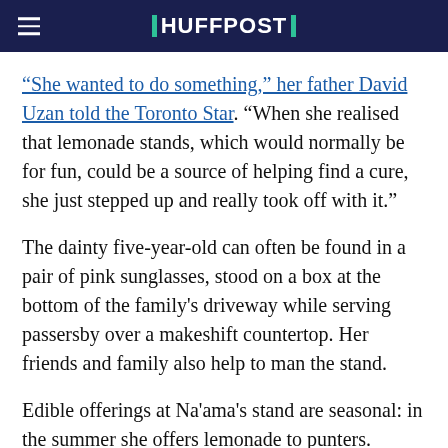HUFFPOST
“She wanted to do something,” her father David Uzan told the Toronto Star. “When she realised that lemonade stands, which would normally be for fun, could be a source of helping find a cure, she just stepped up and really took off with it.”
The dainty five-year-old can often be found in a pair of pink sunglasses, stood on a box at the bottom of the family's driveway while serving passersby over a makeshift countertop. Her friends and family also help to man the stand.
Edible offerings at Na'ama's stand are seasonal: in the summer she offers lemonade to punters. Meanwhile